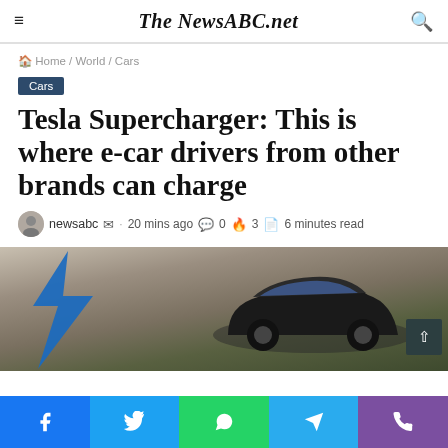≡ The NewsABC.net 🔍
🏠 Home / World / Cars
Cars
Tesla Supercharger: This is where e-car drivers from other brands can charge
newsabc ✉ · 20 mins ago 💬0 🔥3 📄6 minutes read
[Figure (photo): Photo of a Tesla car with a large blue lightning bolt graphic, overcast sky background]
Facebook Twitter WhatsApp Telegram Phone social share bar